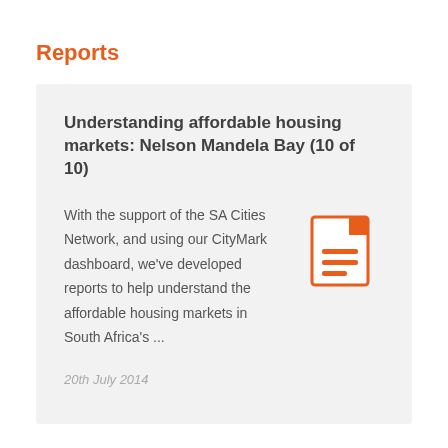Reports
Understanding affordable housing markets: Nelson Mandela Bay (10 of 10)
With the support of the SA Cities Network, and using our CityMark dashboard, we've developed reports to help understand the affordable housing markets in South Africa's ...
[Figure (illustration): Orange document/report icon with lines representing text on a page]
20th July 2014